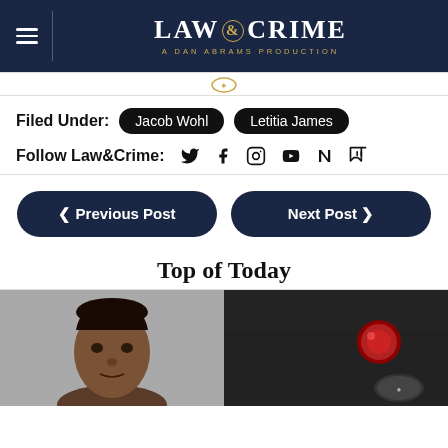LAW & CRIME — A DAN ABRAMS PRODUCTION
Filed Under: Jacob Wohl  Letitia James
Follow Law&Crime:
◄ Previous Post    Next Post ►
Top of Today
[Figure (photo): Two side-by-side photos: left shows a mugshot of a Black man in a grey background; right shows a close-up of a person in dark clothing with a red item visible.]